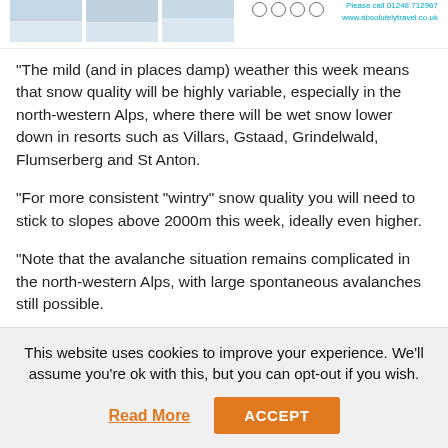[Header with skiing images and social icons / contact info: Please call 01248 712967 www.absolutelytravel.co.uk]
“The mild (and in places damp) weather this week means that snow quality will be highly variable, especially in the north-western Alps, where there will be wet snow lower down in resorts such as Villars, Gstaad, Grindelwald, Flumserberg and St Anton.
“For more consistent “wintry” snow quality you will need to stick to slopes above 2000m this week, ideally even higher.
“Note that the avalanche situation remains complicated in the north-western Alps, with large spontaneous avalanches still possible.
“Furthermore, weak layers in the snowpack will continue
This website uses cookies to improve your experience. We’ll assume you’re ok with this, but you can opt-out if you wish.
Read More  ACCEPT